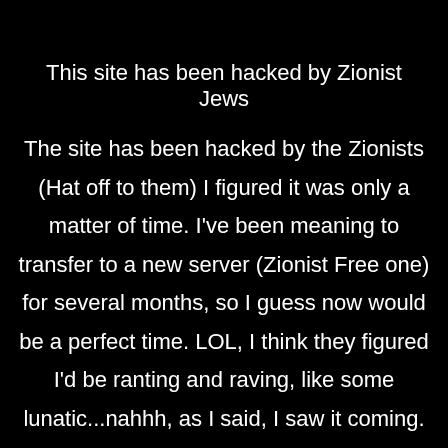This site has been hacked by Zionist Jews
The site has been hacked by the Zionists (Hat off to them) I figured it was only a matter of time. I've been meaning to transfer to a new server (Zionist Free one) for several months, so I guess now would be a perfect time. LOL, I think they figured I'd be ranting and raving, like some lunatic...nahhh, as I said, I saw it coming. In my planning, I had already figured out a list of Zionist